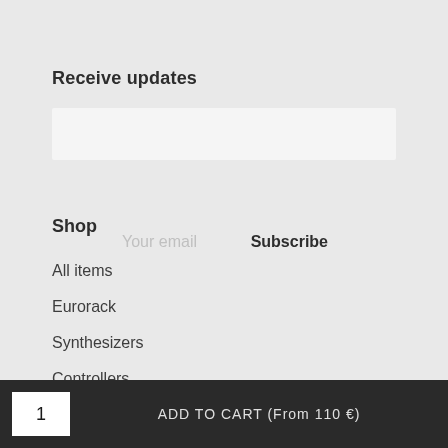Receive updates
Your email    Subscribe
Shop
All items
Eurorack
Synthesizers
Controllers
1    ADD TO CART (From 110 €)